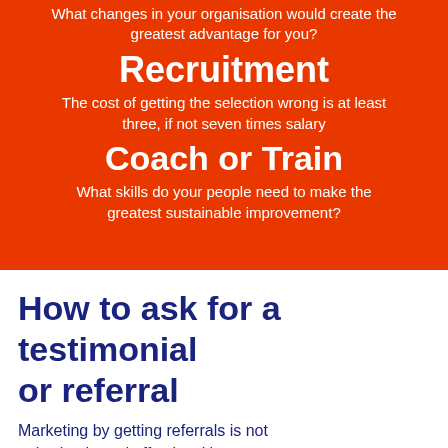What changes in your organisation would create the greatest advantage for you?
Recruitment
The cost of getting the selection wrong is at least three, if not seven times salary
Coach or Train
What skills do your people need to make the greatest sustainable improvement?
How to ask for a testimonial or referral
Marketing by getting referrals is not only simple and effective, it's